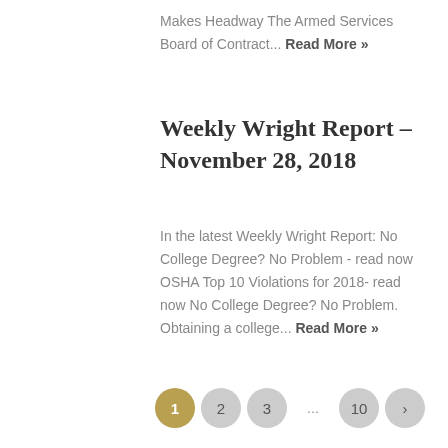Makes Headway The Armed Services Board of Contract... Read More »
Weekly Wright Report – November 28, 2018
In the latest Weekly Wright Report: No College Degree? No Problem - read now OSHA Top 10 Violations for 2018- read now No College Degree? No Problem. Obtaining a college... Read More »
1 2 3 … 10 >